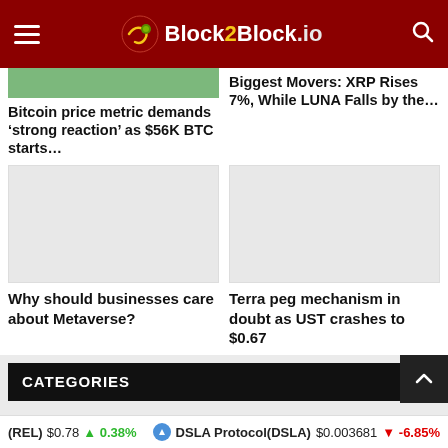Block2Block.io
Bitcoin price metric demands ‘strong reaction’ as $56K BTC starts…
Biggest Movers: XRP Rises 7%, While LUNA Falls by the…
[Figure (photo): Placeholder image for article about businesses and Metaverse]
[Figure (photo): Placeholder image for article about Terra peg mechanism]
Why should businesses care about Metaverse?
Terra peg mechanism in doubt as UST crashes to $0.67
CATEGORIES
(REL) $0.78 ↑ 0.38%   DSLA Protocol(DSLA) $0.003681 ↓ -6.85%